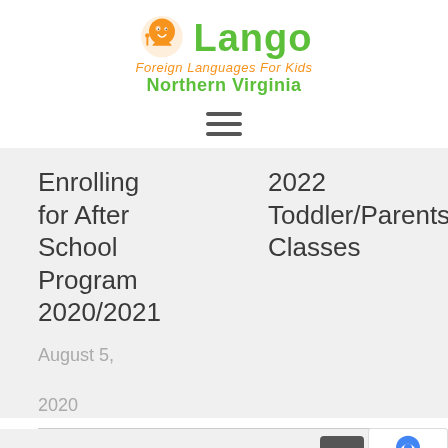[Figure (logo): Lango Foreign Languages For Kids Northern Virginia logo — cartoon child with orange circle, green Lango text, orange subtitle 'Foreign Languages For Kids', green 'Northern Virginia' text]
[Figure (other): Hamburger menu icon — three horizontal dark grey lines]
Enrolling for After School Program 2020/2021
2022 Toddler/Parents Classes
August 5, 2020
FOR PARENTS — LANGO